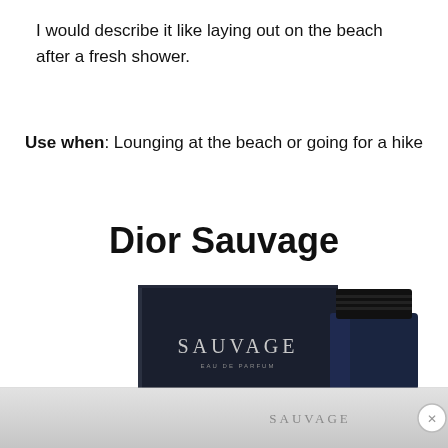I would describe it like laying out on the beach after a fresh shower.
Use when: Lounging at the beach or going for a hike
Dior Sauvage
[Figure (photo): Product photo of Dior Sauvage fragrance: a dark navy/black box labeled SAUVAGE and a dark blue glass bottle with ridged black cap, shown with reflection below. Bottom bar shows SAUVAGE text and a close (X) button.]